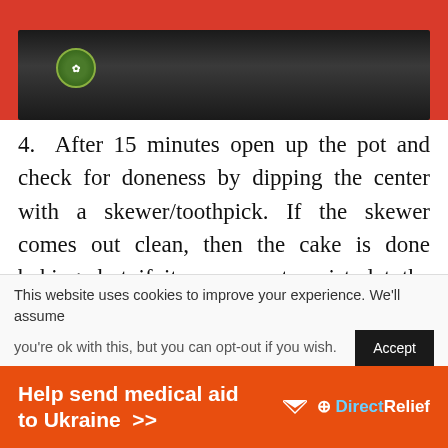[Figure (photo): Top portion of a cooking photo showing a dark pot/pan against a red background, with a green certification badge/sticker visible on the pot.]
4. After 15 minutes open up the pot and check for doneness by dipping the center with a skewer/toothpick. If the skewer comes out clean, then the cake is done baking, but if it comes out moist, let the cake bake a little longer and test with the skewer again, after 5 minutes.
This cake took about 20 minutes.
This website uses cookies to improve your experience. We'll assume you're ok with this, but you can opt-out if you wish.
[Figure (infographic): Orange advertisement banner reading 'Help send medical aid to Ukraine >>' with Direct Relief logo on the right.]